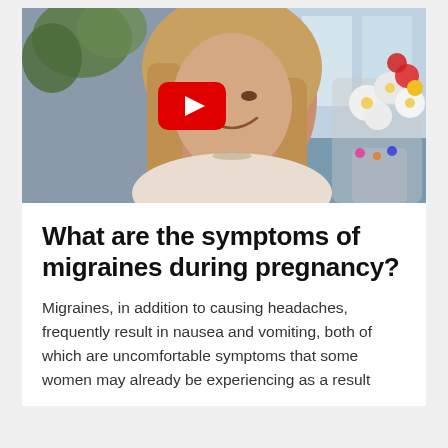[Figure (photo): A smiling woman with long blonde hair sitting indoors, with a bouquet of colorful flowers visible in the background. A YouTube play button overlay is centered on the image, indicating an embedded video.]
What are the symptoms of migraines during pregnancy?
Migraines, in addition to causing headaches, frequently result in nausea and vomiting, both of which are uncomfortable symptoms that some women may already be experiencing as a result